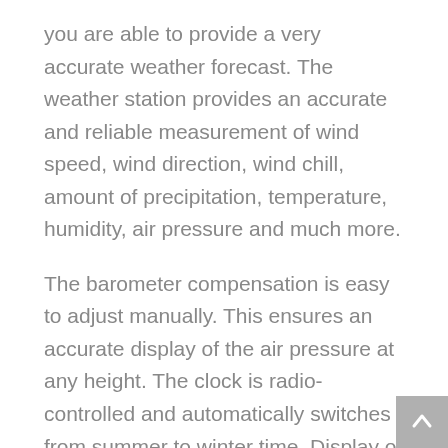you are able to provide a very accurate weather forecast. The weather station provides an accurate and reliable measurement of wind speed, wind direction, wind chill, amount of precipitation, temperature, humidity, air pressure and much more.
The barometer compensation is easy to adjust manually. This ensures an accurate display of the air pressure at any height. The clock is radio-controlled and automatically switches from summer to winter time. Display of the moon phase and trends for air pressure, temperature and humidity. The large LCD display shows trends for temperature and weather forecast. The weather station and the wireless sensors are of excellent quality, the sensors are waterproof and can be